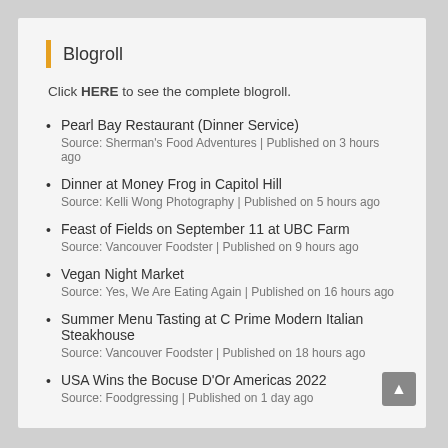Blogroll
Click HERE to see the complete blogroll.
Pearl Bay Restaurant (Dinner Service)
Source: Sherman's Food Adventures | Published on 3 hours ago
Dinner at Money Frog in Capitol Hill
Source: Kelli Wong Photography | Published on 5 hours ago
Feast of Fields on September 11 at UBC Farm
Source: Vancouver Foodster | Published on 9 hours ago
Vegan Night Market
Source: Yes, We Are Eating Again | Published on 16 hours ago
Summer Menu Tasting at C Prime Modern Italian Steakhouse
Source: Vancouver Foodster | Published on 18 hours ago
USA Wins the Bocuse D'Or Americas 2022
Source: Foodgressing | Published on 1 day ago